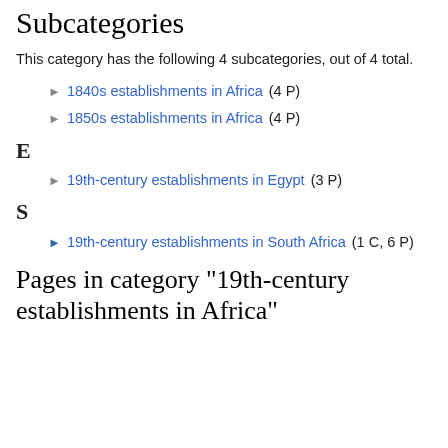Subcategories
This category has the following 4 subcategories, out of 4 total.
1840s establishments in Africa (4 P)
1850s establishments in Africa (4 P)
E
19th-century establishments in Egypt (3 P)
S
19th-century establishments in South Africa (1 C, 6 P)
Pages in category "19th-century establishments in Africa"